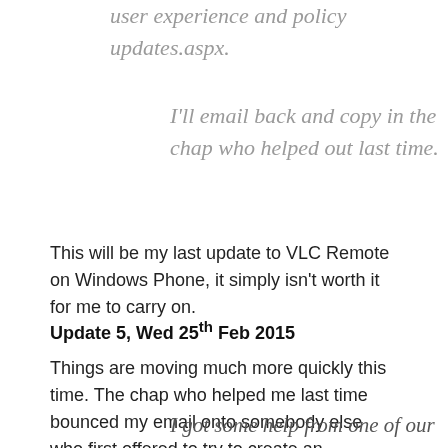user experience and policy updates.aspx.
I'll email back and copy in the chap who helped out last time.
This will be my last update to VLC Remote on Windows Phone, it simply isn't worth it for me to carry on.
Update 5, Wed 25th Feb 2015
Things are moving much more quickly this time. The chap who helped me last time bounced my email onto somebody else who first offered to try to create an exception, then wrote again instructing me:
I got some help from one of our